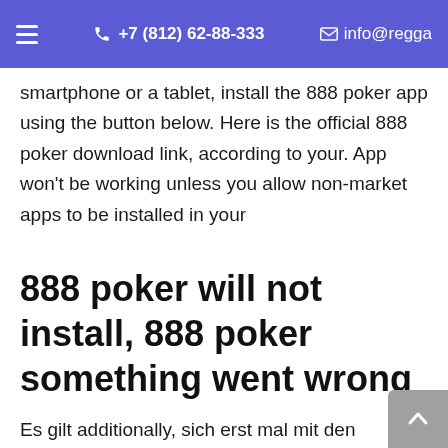☰   +7 (812) 62-88-333   ✉ info@regga
smartphone or a tablet, install the 888 poker app using the button below. Here is the official 888 poker download link, according to your. App won't be working unless you allow non-market apps to be installed in your
888 poker will not install, 888 poker something went wrong
Es gilt additionally, sich erst mal mit den Grundbegriffen vertraut zu machen, bevor du dich zur Annahme von Boni verpflichtest. Hier sind einige der wichtigsten Arten von Boni, die von den Top-Krypto Casinos angeboten werden. Die beiden grundlegenden